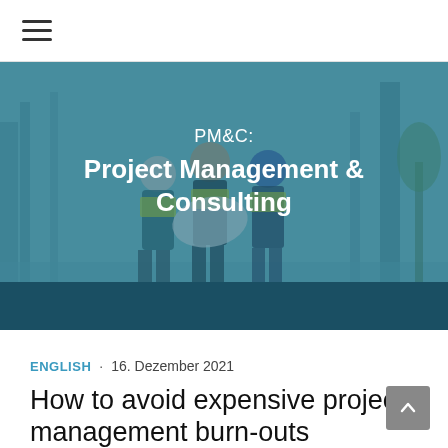≡ (hamburger menu icon)
[Figure (photo): Hero banner with three construction workers in hard hats and high-visibility vests reviewing blueprints on a construction site, overlaid with a teal/blue color wash. Contains text: 'PM&C: Project Management & Consulting']
PM&C:
Project Management & Consulting
ENGLISH · 16. Dezember 2021
How to avoid expensive project management burn-outs